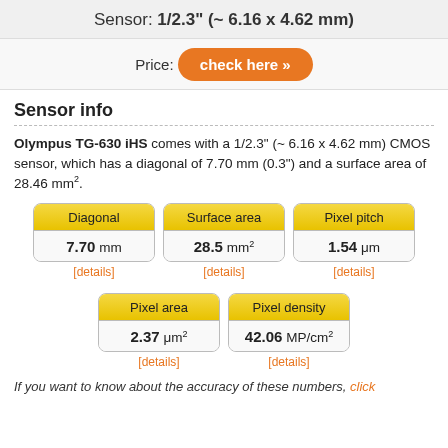Sensor: 1/2.3" (~ 6.16 x 4.62 mm)
Price: check here »
Sensor info
Olympus TG-630 iHS comes with a 1/2.3" (~ 6.16 x 4.62 mm) CMOS sensor, which has a diagonal of 7.70 mm (0.3") and a surface area of 28.46 mm².
| Diagonal | Surface area | Pixel pitch |
| --- | --- | --- |
| 7.70 mm | 28.5 mm² | 1.54 μm |
| [details] | [details] | [details] |
| Pixel area | Pixel density |
| --- | --- |
| 2.37 μm² | 42.06 MP/cm² |
| [details] | [details] |
If you want to know about the accuracy of these numbers, click